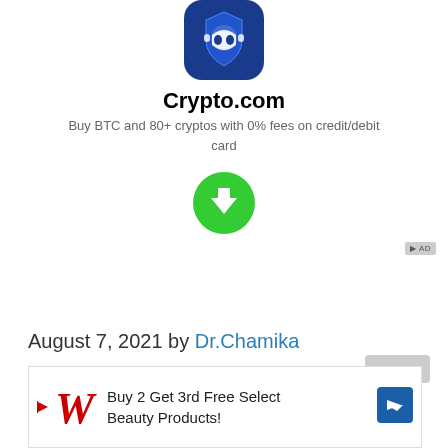[Figure (logo): Crypto.com app icon — blue rounded square with white shield/robot logo]
Crypto.com
Buy BTC and 80+ cryptos with 0% fees on credit/debit card
[Figure (illustration): Green circle with white downward arrow (download button)]
August 7, 2021 by Dr.Chamika
[Figure (infographic): Advertisement banner: Walgreens — Buy 2 Get 3rd Free Select Beauty Products!]